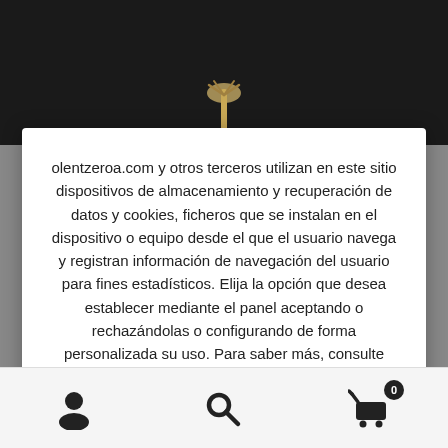[Figure (photo): Dark background image with a wooden broom handle visible at the top center]
olentzeroa.com y otros terceros utilizan en este sitio dispositivos de almacenamiento y recuperación de datos y cookies, ficheros que se instalan en el dispositivo o equipo desde el que el usuario navega y registran información de navegación del usuario para fines estadísticos. Elija la opción que desea establecer mediante el panel aceptando o rechazándolas o configurando de forma personalizada su uso. Para saber más, consulte Leer más donde además encontrará información para desactivar/activar las cookies.
[Figure (screenshot): Cookie consent dialog with two buttons: Ajustes de cookies (grey) and Aceptar (green)]
[Figure (infographic): Bottom navigation bar with user icon, search icon, and shopping cart icon with badge showing 0]